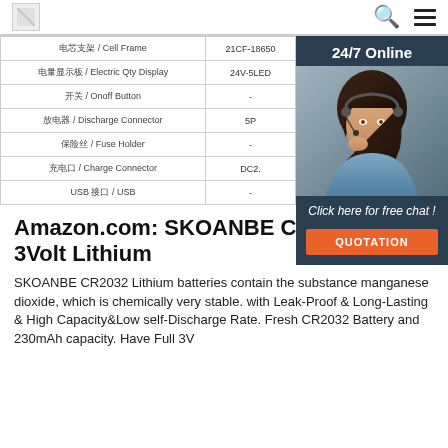[logo] [search icon] [menu icon]
| Parameter | Value |
| --- | --- |
| 电芯支架 / Cell Frame | 21CF-18650 |
| 电量显示板 / Electric Qty Display | 24V-5LED |
| 开关 / Onoff Button | - |
| 放电器 / Discharge Connector | 5P |
| 保险丝 / Fuse Holder | - |
| 充电口 / Charge Connector | DC2. |
| USB 接口 / USB | - |
[Figure (photo): Customer support agent (woman with headset) with 24/7 Online chat widget overlay, dark navy background, orange QUOTATION button]
Amazon.com: SKOANBE CR2032 2032 3Volt Lithium
SKOANBE CR2032 Lithium batteries contain the substance manganese dioxide, which is chemically very stable. with Leak-Proof & Long-Lasting & High Capacity&Low self-Discharge Rate. Fresh CR2032 Battery and 230mAh capacity. Have Full 3V